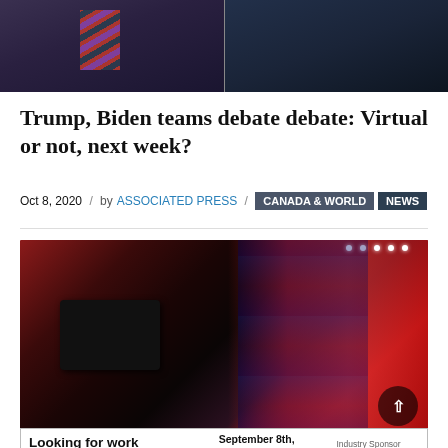[Figure (photo): Two photos side by side: left shows a man in a suit with a striped red/purple tie; right shows a man in a dark suit with hands clasped]
Trump, Biden teams debate debate: Virtual or not, next week?
Oct 8, 2020  /  by ASSOCIATED PRESS  /  CANADA & WORLD  NEWS
[Figure (photo): A camera operator films a debate stage with dramatic red lighting and studio lights visible in the background]
Looking for work or a new career? Featuring 15+ Exhibitors and Growing!  September 8th, 11AM - 3PM  CLICK HERE  Industry Sponsor  Interior Health